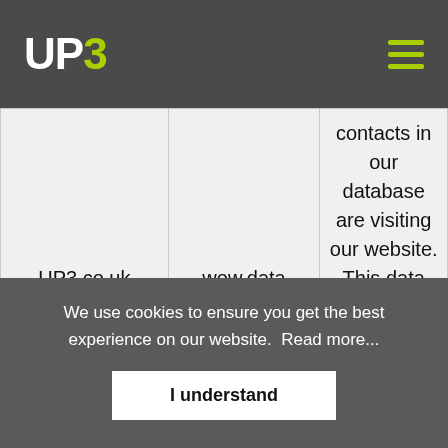UP3 [logo] [hamburger menu]
| UP3.co.uk | wow.data | contacts in our database are visiting our website. This data allows to understand what |
We use cookies to ensure you get the best experience on our website.  Read more...
I understand